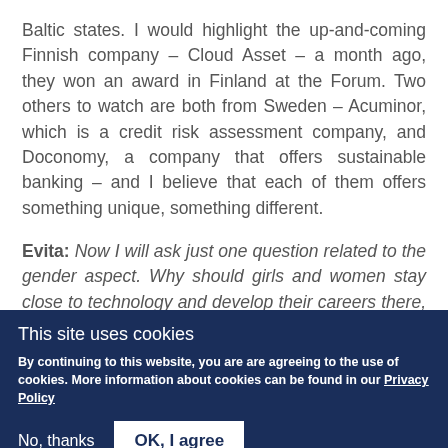Baltic states. I would highlight the up-and-coming Finnish company – Cloud Asset – a month ago, they won an award in Finland at the Forum. Two others to watch are both from Sweden – Acuminor, which is a credit risk assessment company, and Doconomy, a company that offers sustainable banking – and I believe that each of them offers something unique, something different.
Evita: Now I will ask just one question related to the gender aspect. Why should girls and women stay close to technology and develop their careers there, either as specialists or as leaders or as entrepreneurs?
This site uses cookies
By continuing to this website, you are are agreeing to the use of cookies. More information about cookies can be found in our Privacy Policy
No, thanks   OK, I agree